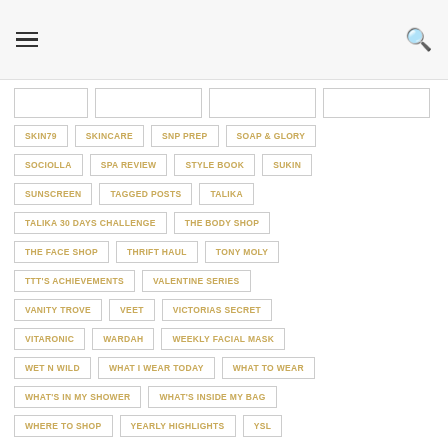Navigation header with hamburger menu and search icon
SKIN79
SKINCARE
SNP PREP
SOAP & GLORY
SOCIOLLA
SPA REVIEW
STYLE BOOK
SUKIN
SUNSCREEN
TAGGED POSTS
TALIKA
TALIKA 30 DAYS CHALLENGE
THE BODY SHOP
THE FACE SHOP
THRIFT HAUL
TONY MOLY
TTT'S ACHIEVEMENTS
VALENTINE SERIES
VANITY TROVE
VEET
VICTORIAS SECRET
VITARONIC
WARDAH
WEEKLY FACIAL MASK
WET N WILD
WHAT I WEAR TODAY
WHAT TO WEAR
WHAT'S IN MY SHOWER
WHAT'S INSIDE MY BAG
WHERE TO SHOP
YEARLY HIGHLIGHTS
YSL